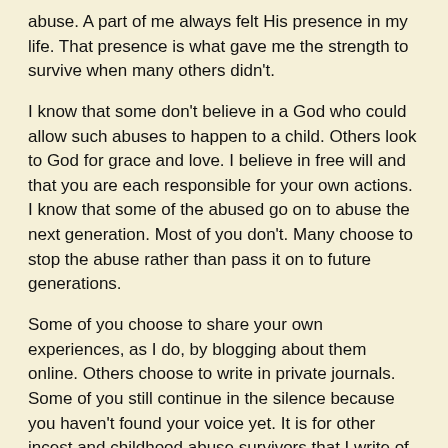abuse. A part of me always felt His presence in my life. That presence is what gave me the strength to survive when many others didn't.
I know that some don't believe in a God who could allow such abuses to happen to a child. Others look to God for grace and love. I believe in free will and that you are each responsible for your own actions. I know that some of the abused go on to abuse the next generation. Most of you don't. Many choose to stop the abuse rather than pass it on to future generations.
Some of you choose to share your own experiences, as I do, by blogging about them online. Others choose to write in private journals. Some of you still continue in the silence because you haven't found your voice yet. It is for other incest and childhood abuse survivors that I write of my experiences. Any time that someone survives abuse in any form and can write about that journey, that is inspirational. It isn't light, funny inspiration. It is sad, thoughtful, sometimes tearful. It is always heartfelt. Sometimes it comes from a deep well of hurt. It is always healing to be able to bring